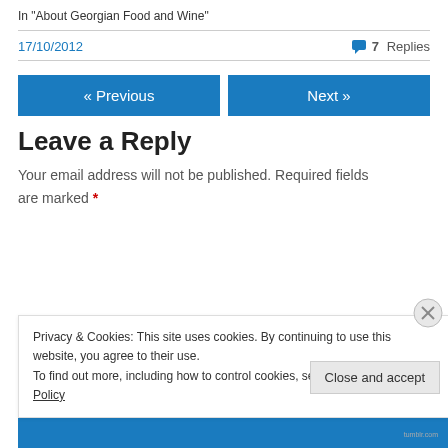In "About Georgian Food and Wine"
17/10/2012
7 Replies
« Previous
Next »
Leave a Reply
Your email address will not be published. Required fields are marked *
Privacy & Cookies: This site uses cookies. By continuing to use this website, you agree to their use.
To find out more, including how to control cookies, see here: Cookie Policy
Close and accept